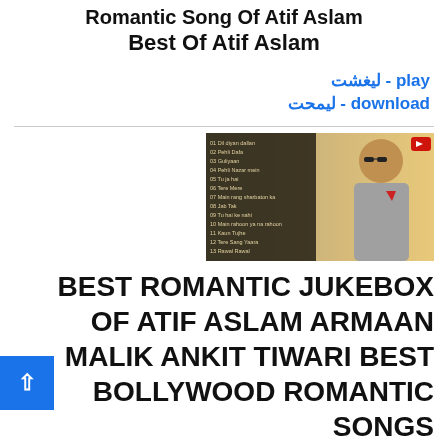Romantic Song Of Atif Aslam Best Of Atif Aslam
تشغيل - play
تحميل - download
[Figure (photo): Thumbnail image of Atif Aslam with a song list overlay, man wearing sunglasses and a blazer]
BEST ROMANTIC JUKEBOX OF ATIF ASLAM ARMAAN MALIK ANKIT TIWARI BEST BOLLYWOOD ROMANTIC SONGS
تشغيل - play